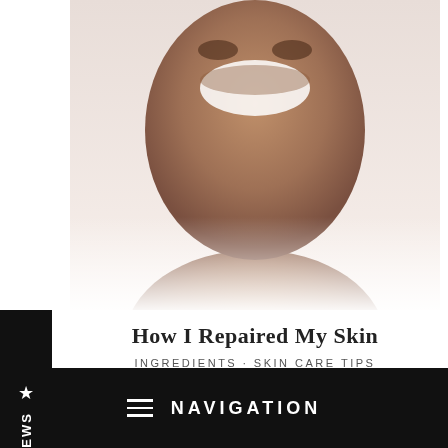[Figure (photo): Cropped photo of a smiling person's face and neck, fading to white at the bottom, on a light beige/peachy background]
How I Repaired My Skin
INGREDIENTS · SKIN CARE TIPS
The Bestsellers
NAVIGATION